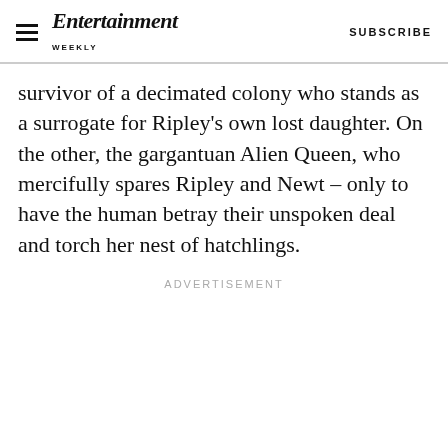Entertainment Weekly — SUBSCRIBE
survivor of a decimated colony who stands as a surrogate for Ripley's own lost daughter. On the other, the gargantuan Alien Queen, who mercifully spares Ripley and Newt – only to have the human betray their unspoken deal and torch her nest of hatchlings.
ADVERTISEMENT